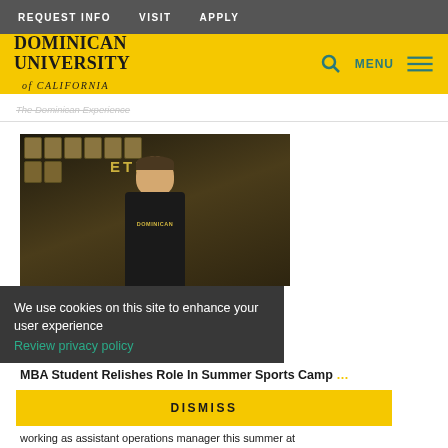REQUEST INFO   VISIT   APPLY
[Figure (logo): Dominican University of California logo in black text on yellow background]
The Dominican Experience
[Figure (photo): A student wearing a Dominican shirt standing in front of an athletics trophy wall]
We use cookies on this site to enhance your user experience
Review privacy policy
DISMISS
MBA Student Relishes Role In Summer Sports Camp
working as assistant operations manager this summer at